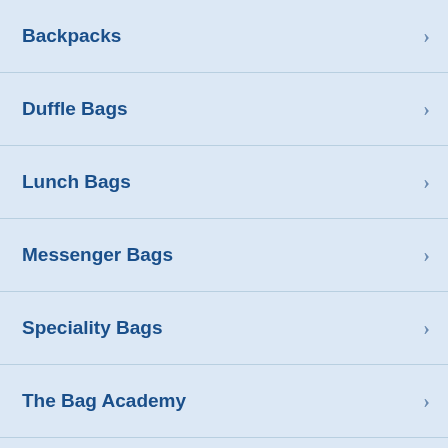Backpacks
Duffle Bags
Lunch Bags
Messenger Bags
Speciality Bags
The Bag Academy
Blog
Do not sell my personal information
QUICK LINKS:
Personalize Your Tote
Wholesale Tote Bags
Canvas Tote Bags
Cotton Tote Bags
Cheap Tote Bags
Wholesale Backpacks
Wholesale Lunch Bags
CUSTOMER CARE:
Help Center
Track Your Order
Returns & Exchanges
Shipping & Delivery
Promotions
Weekly Deals
Monthly Deals